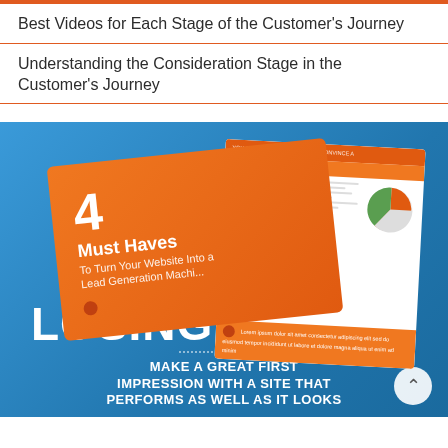Best Videos for Each Stage of the Customer's Journey
Understanding the Consideration Stage in the Customer's Journey
[Figure (infographic): Blue background infographic showing two overlapping orange cards/brochures. Main card reads '4 Must Haves To Turn Your Website Into a Lead Generation Machine'. Secondary card is white with orange header and pie chart graphic. Bottom text reads 'LOSING LEADS?' with dotted line separator, then 'MAKE A GREAT FIRST IMPRESSION WITH A SITE THAT PERFORMS AS WELL AS IT LOOKS'. A scroll-to-top button appears in the bottom right corner.]